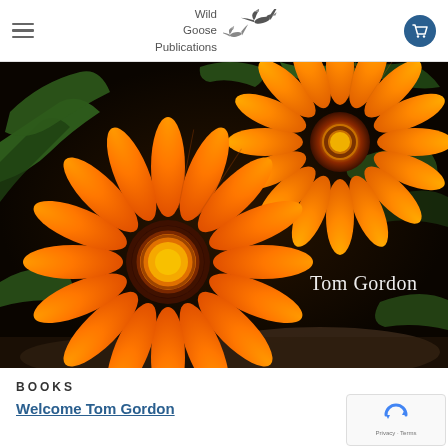Wild Goose Publications
[Figure (photo): Close-up photograph of two bright orange gazania flowers with dark centers and green leaves in background, on dark soil. Text overlay reads 'Tom Gordon'.]
BOOKS
Welcome Tom Gordon